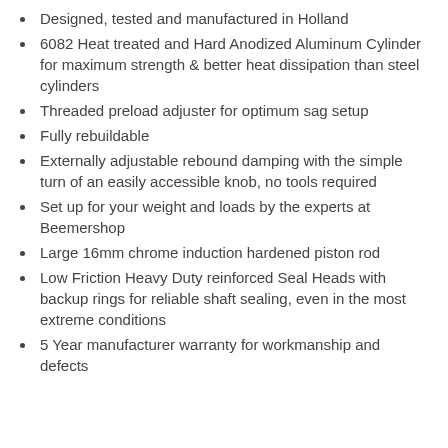Designed, tested and manufactured in Holland
6082 Heat treated and Hard Anodized Aluminum Cylinder for maximum strength & better heat dissipation than steel cylinders
Threaded preload adjuster for optimum sag setup
Fully rebuildable
Externally adjustable rebound damping with the simple turn of an easily accessible knob, no tools required
Set up for your weight and loads by the experts at Beemershop
Large 16mm chrome induction hardened piston rod
Low Friction Heavy Duty reinforced Seal Heads with backup rings for reliable shaft sealing, even in the most extreme conditions
5 Year manufacturer warranty for workmanship and defects